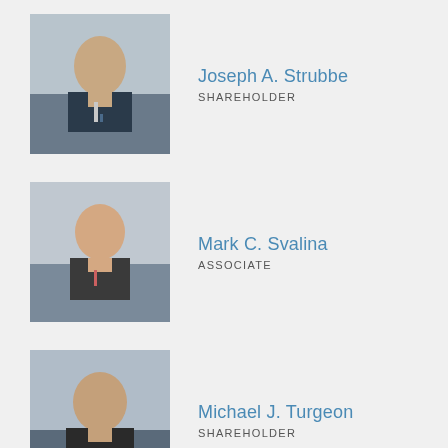[Figure (photo): Headshot of Joseph A. Strubbe, male in suit, professional portrait]
Joseph A. Strubbe
SHAREHOLDER
[Figure (photo): Headshot of Mark C. Svalina, male in suit, professional portrait]
Mark C. Svalina
ASSOCIATE
[Figure (photo): Headshot of Michael J. Turgeon, male in suit, professional portrait]
Michael J. Turgeon
SHAREHOLDER
[Figure (photo): Headshot of Madeline Tzall, female, professional portrait]
Madeline Tzall
ASSOCIATE
[Figure (photo): Headshot of Nicholas Vera, male in suit, professional portrait]
Nicholas Vera
ASSOCIATE